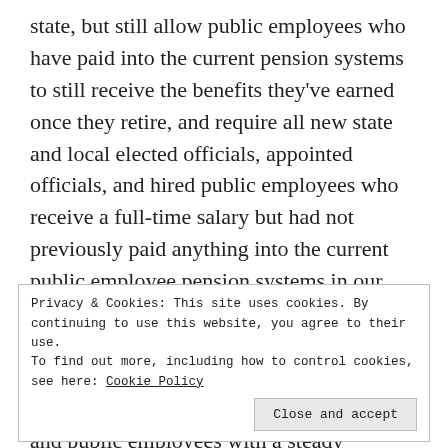state, but still allow public employees who have paid into the current pension systems to still receive the benefits they've earned once they retire, and require all new state and local elected officials, appointed officials, and hired public employees who receive a full-time salary but had not previously paid anything into the current public employee pension systems in our state to pay into a newly-created public employee pension system that is designed to be fully-funded and provide our state's future elected officials, political appointees, and public employees with a steady retirement income once they retire. Make no mistake about it, I will strongly oppose
Privacy & Cookies: This site uses cookies. By continuing to use this website, you agree to their use.
To find out more, including how to control cookies, see here: Cookie Policy
Close and accept